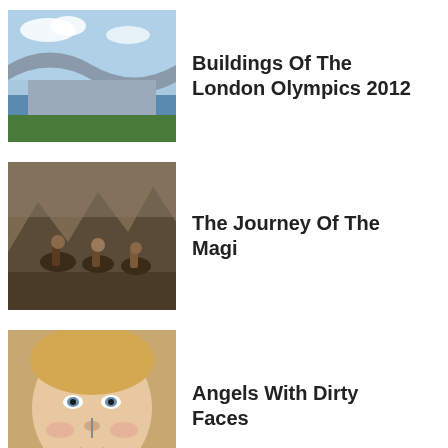Buildings Of The London Olympics 2012
The Journey Of The Magi
Angels With Dirty Faces
Contemporary Furniture Design: Including Great Commissions
Power, Propaganda And Men In Tights: English Art Under The Tudors
Tate Ancient: The Earliest Art